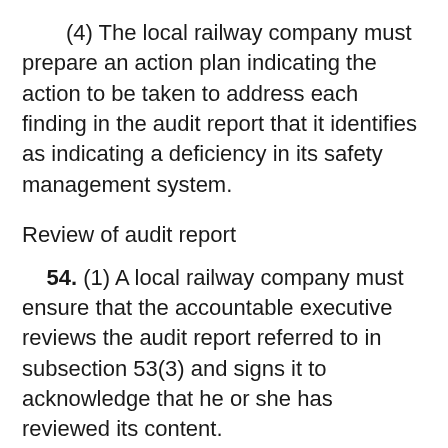(4) The local railway company must prepare an action plan indicating the action to be taken to address each finding in the audit report that it identifies as indicating a deficiency in its safety management system.
Review of audit report
54. (1) A local railway company must ensure that the accountable executive reviews the audit report referred to in subsection 53(3) and signs it to acknowledge that he or she has reviewed its content.